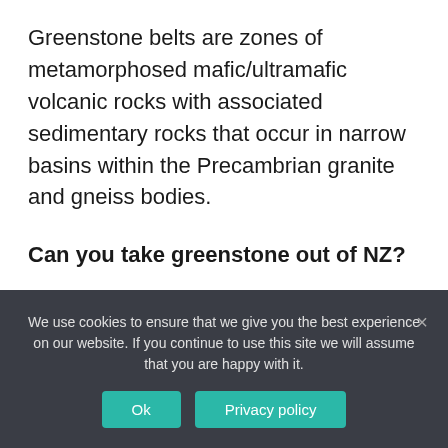Greenstone belts are zones of metamorphosed mafic/ultramafic volcanic rocks with associated sedimentary rocks that occur in narrow basins within the Precambrian granite and gneiss bodies.
Can you take greenstone out of NZ?
In 1997, the tribe became the legal owner and guardian (kaitiaki) of all New Zealand pounamu.
We use cookies to ensure that we give you the best experience on our website. If you continue to use this site we will assume that you are happy with it.